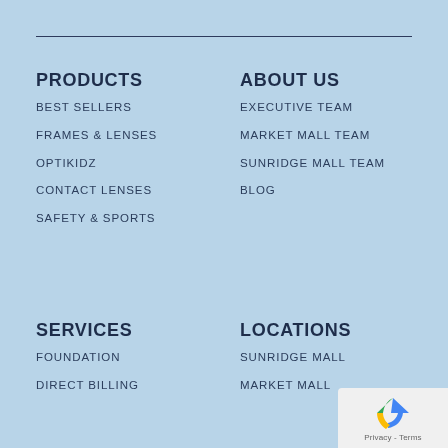PRODUCTS
BEST SELLERS
FRAMES & LENSES
OPTIKIDZ
CONTACT LENSES
SAFETY & SPORTS
ABOUT US
EXECUTIVE TEAM
MARKET MALL TEAM
SUNRIDGE MALL TEAM
BLOG
SERVICES
FOUNDATION
DIRECT BILLING
LOCATIONS
SUNRIDGE MALL
MARKET MALL